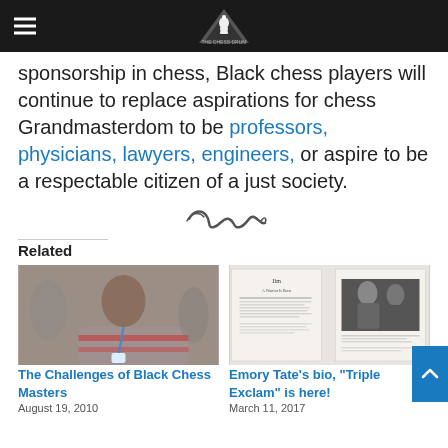The Chess Drum website header with logo and hamburger menu
sponsorship in chess, Black chess players will continue to replace aspirations for chess Grandmasterdom to be professors, physicians, lawyers, engineers, or aspire to be a respectable citizen of a just society.
[Figure (illustration): Decorative divider flourish / scroll ornament]
Related
[Figure (photo): Photo of a young Black chess player sitting at a table with a lanyard badge]
The Challenges of Black Chess Masters
August 19, 2010
[Figure (photo): Book or magazine spread showing article titled 'A Warrior Is Born' with a photo of two men in suits]
Emory Tate's bio, "Triple Exclam" is here!
March 11, 2017